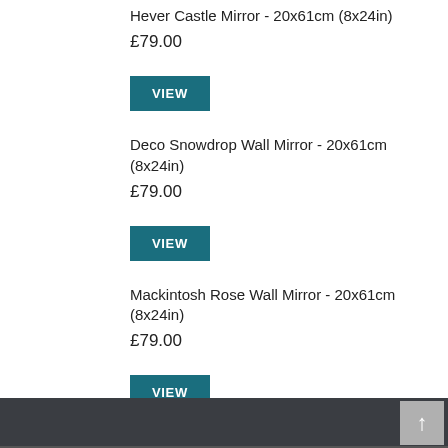Hever Castle Mirror - 20x61cm (8x24in)
£79.00
VIEW
Deco Snowdrop Wall Mirror - 20x61cm (8x24in)
£79.00
VIEW
Mackintosh Rose Wall Mirror - 20x61cm (8x24in)
£79.00
VIEW